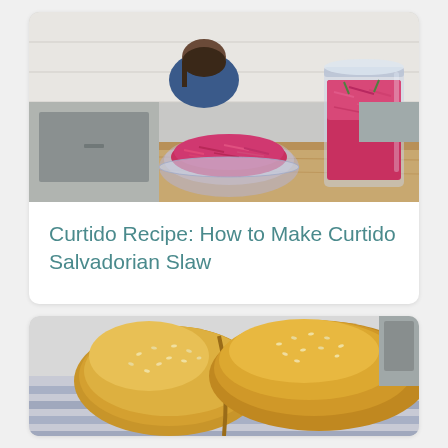[Figure (photo): Kitchen scene with a bowl of bright pink/red curtido (Salvadorian slaw) and a large glass jar of curtido on a wooden cutting board. A person in a blue shirt is bent over in the background in a white-tiled kitchen.]
Curtido Recipe: How to Make Curtido Salvadorian Slaw
[Figure (photo): Close-up of golden-brown crusty bread rolls with sesame seeds on top, placed on a striped blue and white cloth.]